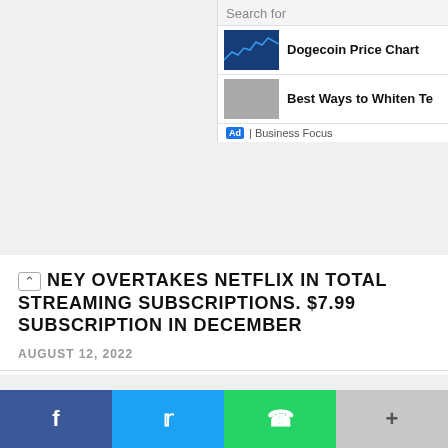Search for
Dogecoin Price Chart
Best Ways to Whiten Te
Ad | Business Focus
NEY OVERTAKES NETFLIX IN TOTAL STREAMING SUBSCRIPTIONS. $7.99 SUBSCRIPTION IN DECEMBER
AUGUST 12, 2022
UPCOMING GAME RELEASES IN 2022
AUGUST 7, 2022
[Figure (other): Social media share buttons: Facebook, Twitter, WhatsApp, More]